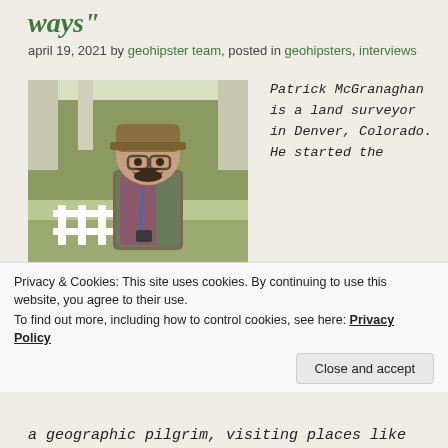ways"
april 19, 2021 by geohipster team, posted in geohipsters, interviews
[Figure (photo): Selfie of Patrick McGranaghan outdoors near a white picket fence with trees in the background, wearing a cap and glasses, smiling]
Patrick McGranaghan is a land surveyor in Denver, Colorado. He started the
Privacy & Cookies: This site uses cookies. By continuing to use this website, you agree to their use.
To find out more, including how to control cookies, see here: Privacy Policy
Close and accept
a geographic pilgrim, visiting places like